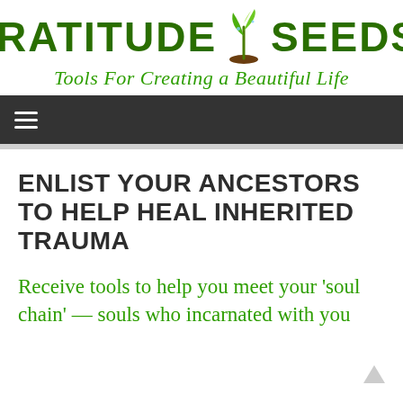[Figure (logo): Gratitude Seeds logo with green plant sprout icon between the two words, tagline 'Tools For Creating a Beautiful Life' below, TM mark top right]
Navigation bar with hamburger menu icon
ENLIST YOUR ANCESTORS TO HELP HEAL INHERITED TRAUMA
Receive tools to help you meet your 'soul chain' — souls who incarnated with you